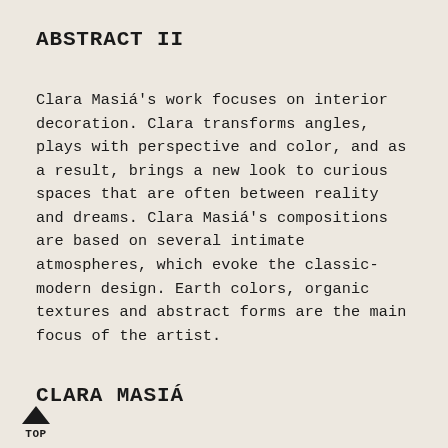ABSTRACT II
Clara Masiá's work focuses on interior decoration. Clara transforms angles, plays with perspective and color, and as a result, brings a new look to curious spaces that are often between reality and dreams. Clara Masiá's compositions are based on several intimate atmospheres, which evoke the classic-modern design. Earth colors, organic textures and abstract forms are the main focus of the artist.
CLARA MASIÁ
Clara Masiá lives in Barcelona and studied art and design at Massana School. As an illustrator, Clara considers herself a very observant and detailed person where these skills can be reflected in her work.
▲ TOP